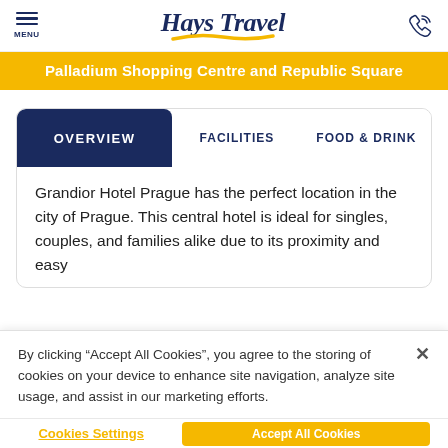Hays Travel
Palladium Shopping Centre and Republic Square
OVERVIEW | FACILITIES | FOOD & DRINK
Grandior Hotel Prague has the perfect location in the city of Prague. This central hotel is ideal for singles, couples, and families alike due to its proximity and easy
By clicking “Accept All Cookies”, you agree to the storing of cookies on your device to enhance site navigation, analyze site usage, and assist in our marketing efforts.
Cookies Settings | Accept All Cookies